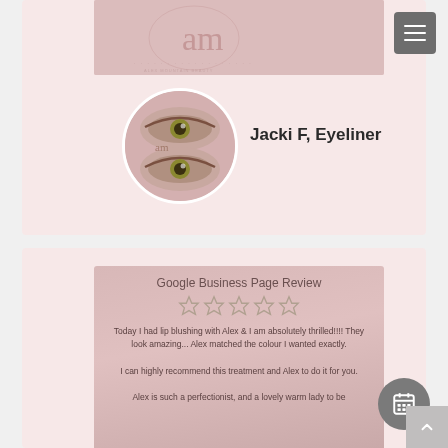[Figure (photo): Banner image with cursive 'am' logo text on pink background]
[Figure (photo): Circular profile photo showing close-up of eyes with eyeliner treatment]
Jacki F, Eyeliner
[Figure (infographic): Google Business Page Review card with 5 stars and review text: 'Today I had lip blushing with Alex & I am absolutely thrilled!!!! They look amazing... Alex matched the colour I wanted exactly. I can highly recommend this treatment and Alex to do it for you. Alex is such a perfectionist, and a lovely warm lady to be']